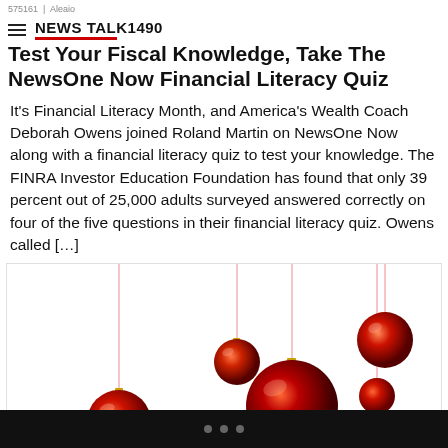575161 | Aleaio NEWS TALK 1490
Test Your Fiscal Knowledge, Take The NewsOne Now Financial Literacy Quiz
It's Financial Literacy Month, and America's Wealth Coach Deborah Owens joined Roland Martin on NewsOne Now along with a financial literacy quiz to test your knowledge. The FINRA Investor Education Foundation has found that only 39 percent out of 25,000 adults surveyed answered correctly on four of the five questions in their financial literacy quiz. Owens called […]
[Figure (photo): Hanging red Christmas ornament balls against a white background, varying sizes, with thin red strings and gold caps.]